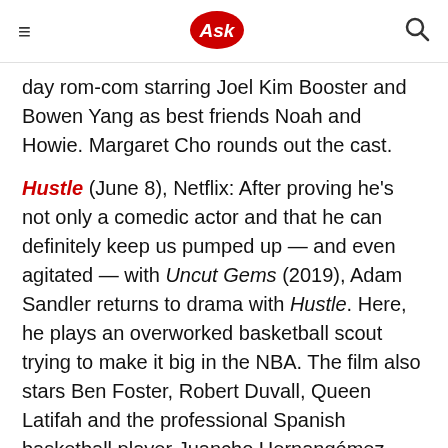Ask
day rom-com starring Joel Kim Booster and Bowen Yang as best friends Noah and Howie. Margaret Cho rounds out the cast.
Hustle (June 8), Netflix: After proving he's not only a comedic actor and that he can definitely keep us pumped up — and even agitated — with Uncut Gems (2019), Adam Sandler returns to drama with Hustle. Here, he plays an overworked basketball scout trying to make it big in the NBA. The film also stars Ben Foster, Robert Duvall, Queen Latifah and the professional Spanish basketball player Juancho Hernangómez.